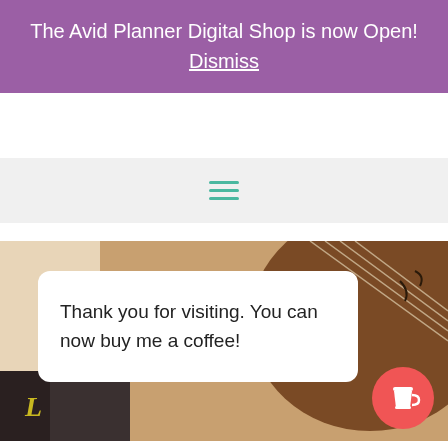The Avid Planner Digital Shop is now Open!
Dismiss
[Figure (screenshot): Navigation bar with hamburger menu icon (three horizontal teal lines)]
[Figure (photo): Photo of a ukulele/guitar with a white card overlay reading 'Thank you for visiting. You can now buy me a coffee!' and a red circular coffee cup button in the bottom right corner]